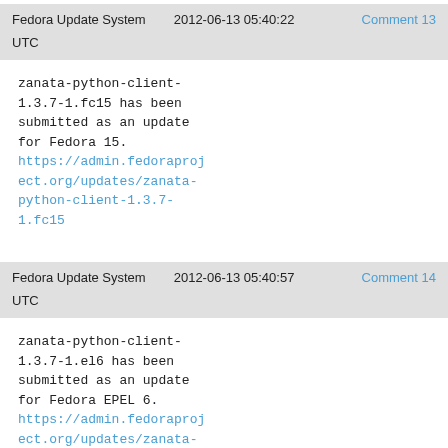Fedora Update System   2012-06-13 05:40:22   Comment 13
UTC
zanata-python-client-1.3.7-1.fc15 has been submitted as an update for Fedora 15.
https://admin.fedoraproject.org/updates/zanata-python-client-1.3.7-1.fc15
Fedora Update System   2012-06-13 05:40:57   Comment 14
UTC
zanata-python-client-1.3.7-1.el6 has been submitted as an update for Fedora EPEL 6.
https://admin.fedoraproject.org/updates/zanata-python-client-1.3.7-1.el6